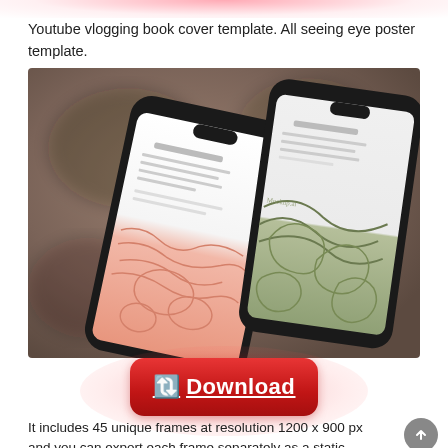Youtube vlogging book cover template. All seeing eye poster template.
[Figure (photo): Two smartphones displayed at an angle on a dark brown/taupe background, showing mobile app or book cover mockup screens — one with a pink pattern and one with a green/olive botanical design.]
[Figure (other): Red rounded rectangle download button with arrow emoji and underlined 'Download' text, with pink/red glow effect behind it.]
It includes 45 unique frames at resolution 1200 x 900 px and you can export each frame separately as a static mockup.